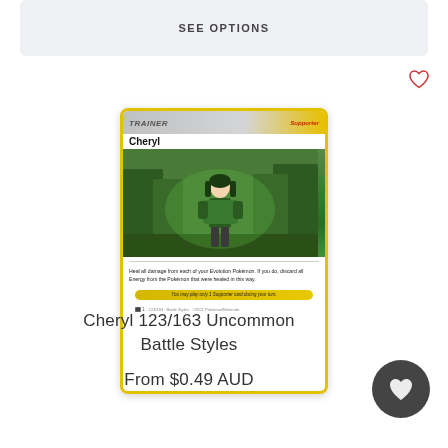SEE OPTIONS
[Figure (illustration): Pokemon trading card for Cheryl 123/163 Uncommon from Battle Styles set. Yellow-bordered card showing a TRAINER Supporter card named Cheryl. Card art depicts an anime-style female character in a green forest setting. Card text reads: Heal all damage from each of your Evolution Pokemon. If you do, discard all Energy from the Pokemon that were healed in this way.]
Cheryl 123/163 Uncommon Battle Styles
From $0.49 AUD